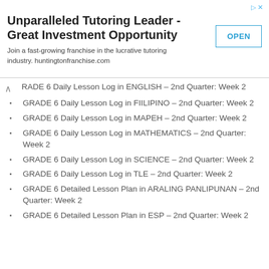[Figure (other): Advertisement banner: Unparalleled Tutoring Leader - Great Investment Opportunity. Join a fast-growing franchise in the lucrative tutoring industry. huntingtonfranchise.com. Button: OPEN]
GRADE 6 Daily Lesson Log in ENGLISH – 2nd Quarter: Week 2
GRADE 6 Daily Lesson Log in FIILIPINO – 2nd Quarter: Week 2
GRADE 6 Daily Lesson Log in MAPEH – 2nd Quarter: Week 2
GRADE 6 Daily Lesson Log in MATHEMATICS – 2nd Quarter: Week 2
GRADE 6 Daily Lesson Log in SCIENCE – 2nd Quarter: Week 2
GRADE 6 Daily Lesson Log in TLE – 2nd Quarter: Week 2
GRADE 6 Detailed Lesson Plan in ARALING PANLIPUNAN – 2nd Quarter: Week 2
GRADE 6 Detailed Lesson Plan in ESP – 2nd Quarter: Week 2